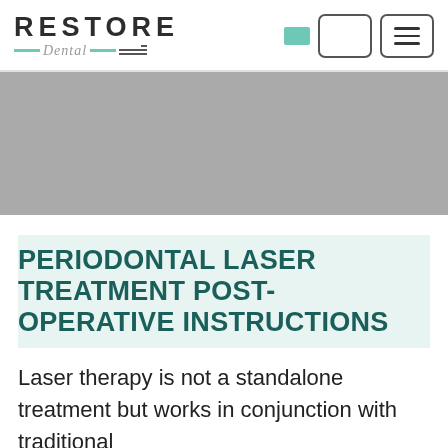[Figure (logo): Restore Dental logo with teal decorative lines and toothbrush icon]
[Figure (photo): Gray hero banner image placeholder]
PERIODONTAL LASER TREATMENT POST-OPERATIVE INSTRUCTIONS
Laser therapy is not a standalone treatment but works in conjunction with traditional